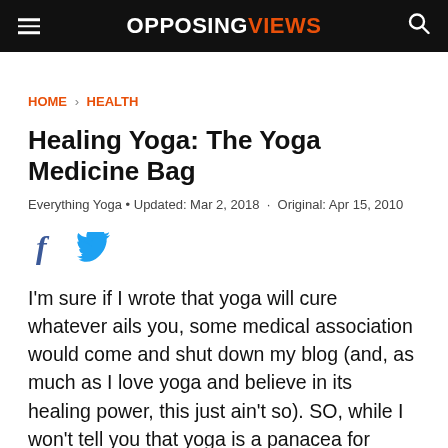OPPOSINGVIEWS
HOME › HEALTH
Healing Yoga: The Yoga Medicine Bag
Everything Yoga • Updated: Mar 2, 2018 · Original: Apr 15, 2010
[Figure (other): Social sharing icons: Facebook and Twitter]
I'm sure if I wrote that yoga will cure whatever ails you, some medical association would come and shut down my blog (and, as much as I love yoga and believe in its healing power, this just ain't so). SO, while I won't tell you that yoga is a panacea for